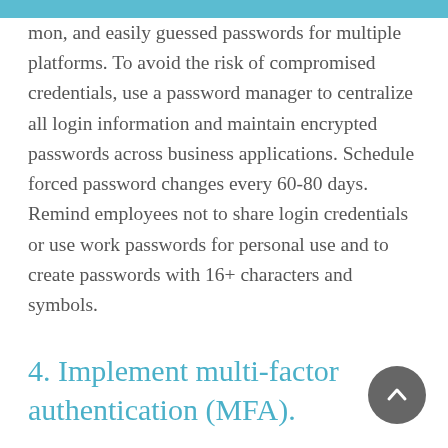mon, and easily guessed passwords for multiple platforms. To avoid the risk of compromised credentials, use a password manager to centralize all login information and maintain encrypted passwords across business applications. Schedule forced password changes every 60-80 days. Remind employees not to share login credentials or use work passwords for personal use and to create passwords with 16+ characters and symbols.
4. Implement multi-factor authentication (MFA).